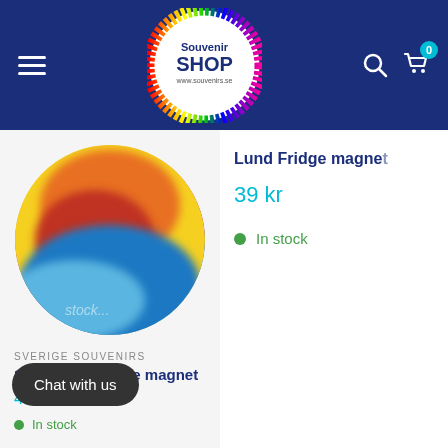[Figure (logo): Souvenir Shop logo — white circle with rainbow spiky border on dark navy background, text 'Souvenir SHOP www.souvenirs.se']
[Figure (photo): Circular blurred fridge magnet product image showing colorful scene (yellow, orange, red, blue)]
Lund Fridge magnet
39 kr
In stock
SVERIGE SOUVENIRS
Stockholm Fridge magnet
49 kr
Chat with us
In stock